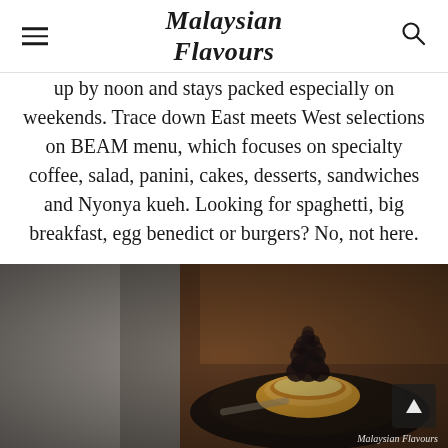Malaysian Flavours
up by noon and stays packed especially on weekends. Trace down East meets West selections on BEAM menu, which focuses on specialty coffee, salad, panini, cakes, desserts, sandwiches and Nyonya kueh. Looking for spaghetti, big breakfast, egg benedict or burgers? No, not here.
[Figure (photo): A dark tart topped with a pile of small dark round berries (likely blueberries or coffee beans) served on a dark plate, photographed in moody low-key lighting with a shallow depth of field. Watermark reads 'Malaysian Flavours'.]